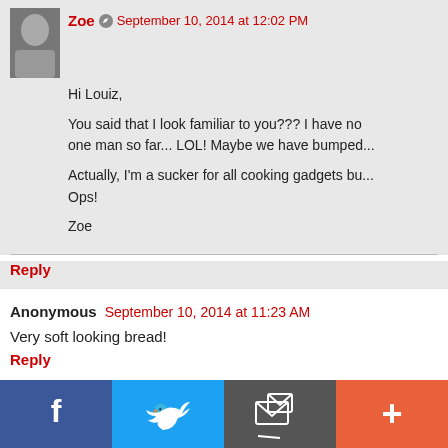Zoe · September 10, 2014 at 12:02 PM
Hi Louiz,

You said that I look familiar to you??? I have no one man so far... LOL! Maybe we have bumped...

Actually, I'm a sucker for all cooking gadgets bu... Ops!

Zoe
Reply
Anonymous · September 10, 2014 at 11:23 AM
Very soft looking bread!
Reply